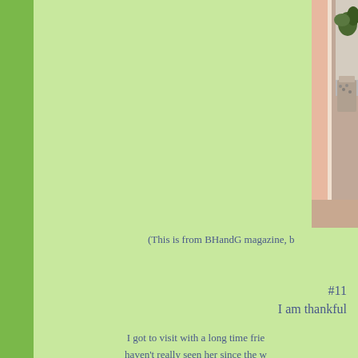[Figure (photo): Partial view of a room with peach/orange tones and a decorative patterned container with plants, white furniture visible]
(This is from BHandG magazine, b
#11
I am thankful
I got to visit with a long time frie haven't really seen her since the w have talked on the phone.....so it her in person.  Lovely visit with